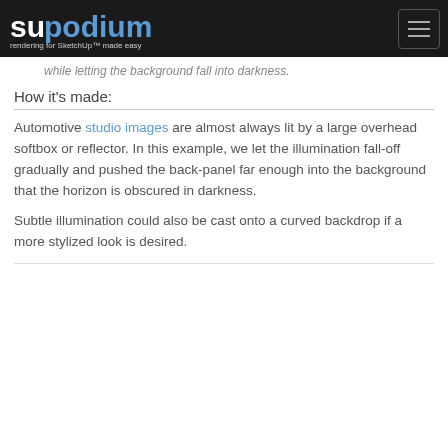supodium — rendering for SketchUp™ made easy
…while letting the background fall into darkness.
How it's made:
Automotive studio images are almost always lit by a large overhead softbox or reflector. In this example, we let the illumination fall-off gradually and pushed the back-panel far enough into the background that the horizon is obscured in darkness.
Subtle illumination could also be cast onto a curved backdrop if a more stylized look is desired.